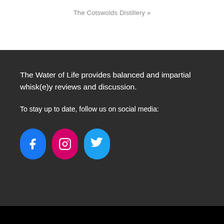The Cotswolds Distillery »
The Water of Life provides balanced and impartial whisk(e)y reviews and discussion.
To stay up to date, follow us on social media:
[Figure (illustration): Three social media icon buttons: Facebook (blue, rounded rectangle), Instagram (pink/magenta, rounded rectangle), Twitter (light blue, rounded rectangle)]
Website Designed by AimTen